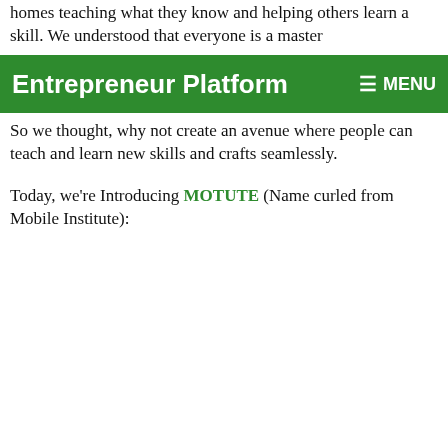homes teaching what they know and helping others learn a skill. We understood that everyone is a master
Entrepreneur Platform   ☰ MENU
So we thought, why not create an avenue where people can teach and learn new skills and crafts seamlessly.
Today, we're Introducing MOTUTE (Name curled from Mobile Institute):